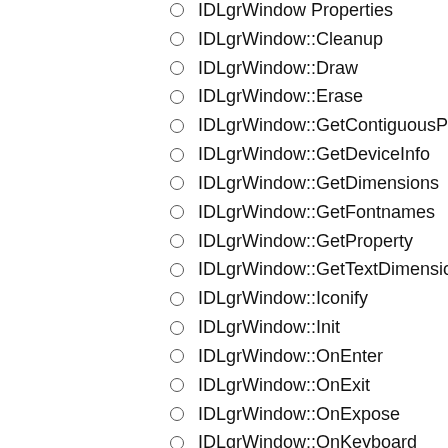IDLgrWindow Properties
IDLgrWindow::Cleanup
IDLgrWindow::Draw
IDLgrWindow::Erase
IDLgrWindow::GetContiguousPixels
IDLgrWindow::GetDeviceInfo
IDLgrWindow::GetDimensions
IDLgrWindow::GetFontnames
IDLgrWindow::GetProperty
IDLgrWindow::GetTextDimensions
IDLgrWindow::Iconify
IDLgrWindow::Init
IDLgrWindow::OnEnter
IDLgrWindow::OnExit
IDLgrWindow::OnExpose
IDLgrWindow::OnKeyboard
IDLgrWindow::OnMouseDown
IDLgrWindow::OnMouseMotion
IDLgrWindow::OnMouseUp
IDLgrWindow::OnResize
IDLgrWindow::OnWheel
IDLgrWindow::PickData